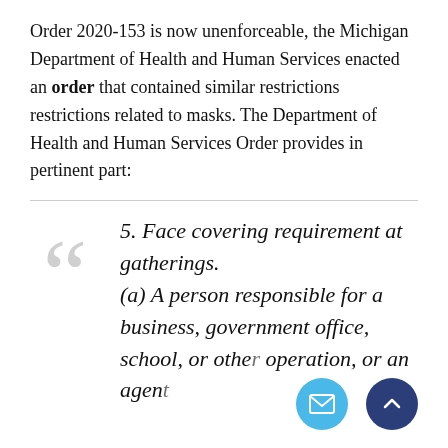Order 2020-153 is now unenforceable, the Michigan Department of Health and Human Services enacted an order that contained similar restrictions restrictions related to masks. The Department of Health and Human Services Order provides in pertinent part:
5. Face covering requirement at gatherings. (a) A person responsible for a business, government office, school, or other operation, or an agent